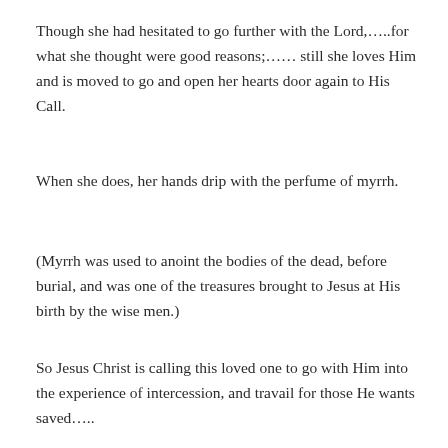Though she had hesitated to go further with the Lord,…..for what she thought were good reasons;…… still she loves Him and is moved to go and open her hearts door again to His Call.
When she does, her hands drip with the perfume of myrrh.
(Myrrh was used to anoint the bodies of the dead, before burial, and was one of the treasures brought to Jesus at His birth by the wise men.)
So Jesus Christ is calling this loved one to go with Him into the experience of intercession, and travail for those He wants saved…..